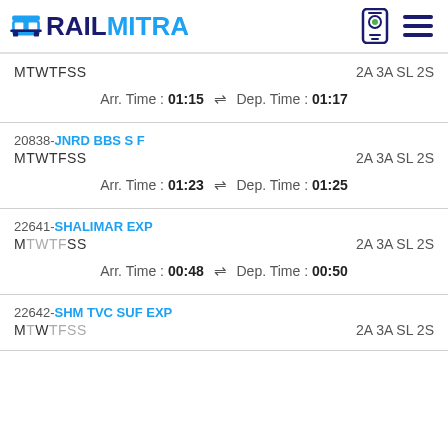RAILMITRA
MTWTFSS   2A 3A SL 2S
Arr. Time : 01:15 ⇌ Dep. Time : 01:17
20838-JNRD BBS S F
MTWTFSS   2A 3A SL 2S
Arr. Time : 01:23 ⇌ Dep. Time : 01:25
22641-SHALIMAR EXP
MTWTFSS   2A 3A SL 2S
Arr. Time : 00:48 ⇌ Dep. Time : 00:50
22642-SHM TVC SUF EXP
MTWTFSS   2A 3A SL 2S